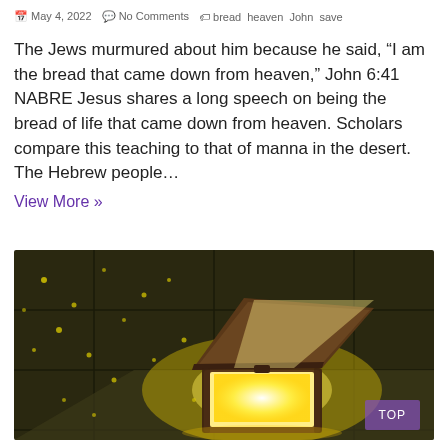May 4, 2022   No Comments   bread heaven John save
The Jews murmured about him because he said, “I am the bread that came down from heaven,” John 6:41 NABRE Jesus shares a long speech on being the bread of life that came down from heaven. Scholars compare this teaching to that of manna in the desert. The Hebrew people…
View More »
[Figure (photo): A glowing open treasure chest on a dark tiled surface with yellow dots of light scattered around it.]